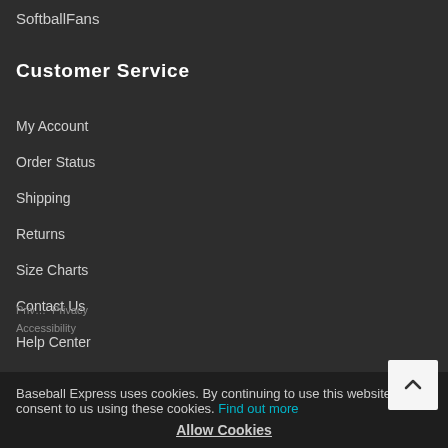SoftballFans
Customer Service
My Account
Order Status
Shipping
Returns
Size Charts
Contact Us
Help Center
Privacy  Accessibility
Baseball Express uses cookies. By continuing to use this website, you consent to us using these cookies. Find out more
Allow Cookies